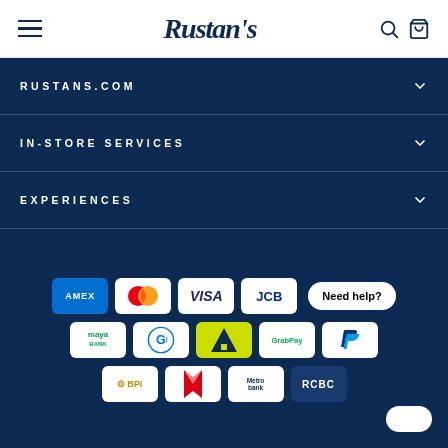Rustan's
RUSTANS.COM
IN-STORE SERVICES
EXPERIENCES
[Figure (logo): Payment method logos: AMEX, Mastercard, VISA, JCB, Maya Bank, GCash, Gcash/AddMoney, GrabPay, PayPal, BPI, HSBC, Metrobank, RCBC]
Need help?